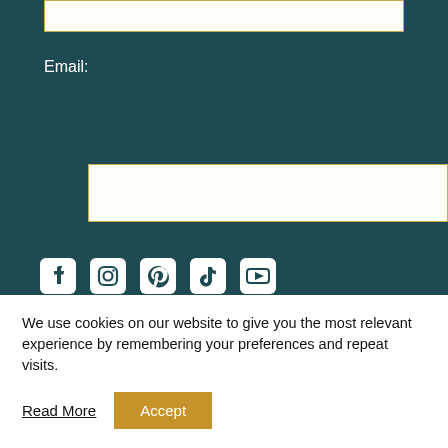Email:
[Figure (screenshot): Email input field (white rectangle with gold border)]
SIGN ME UP!
[Figure (other): Social media icons: Facebook, Instagram, Pinterest, TikTok, YouTube]
We use cookies on our website to give you the most relevant experience by remembering your preferences and repeat visits.
Read More
Accept